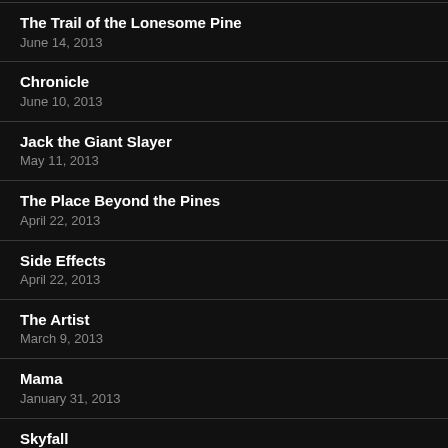The Trail of the Lonesome Pine
June 14, 2013
Chronicle
June 10, 2013
Jack the Giant Slayer
May 11, 2013
The Place Beyond the Pines
April 22, 2013
Side Effects
April 22, 2013
The Artist
March 9, 2013
Mama
January 31, 2013
Skyfall
December 28, 2012